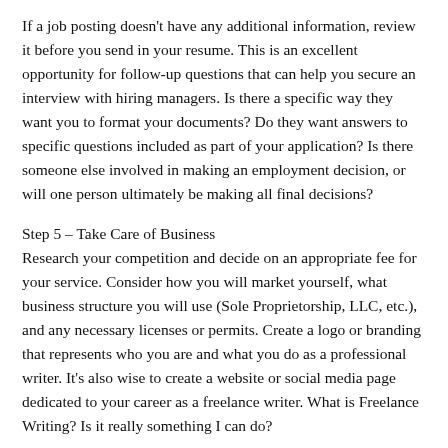If a job posting doesn't have any additional information, review it before you send in your resume. This is an excellent opportunity for follow-up questions that can help you secure an interview with hiring managers. Is there a specific way they want you to format your documents? Do they want answers to specific questions included as part of your application? Is there someone else involved in making an employment decision, or will one person ultimately be making all final decisions?
Step 5 – Take Care of Business
Research your competition and decide on an appropriate fee for your service. Consider how you will market yourself, what business structure you will use (Sole Proprietorship, LLC, etc.), and any necessary licenses or permits. Create a logo or branding that represents who you are and what you do as a professional writer. It's also wise to create a website or social media page dedicated to your career as a freelance writer. What is Freelance Writing? Is it really something I can do?
Can I Earn Enough Money Freelancing to Make Ends Meet?